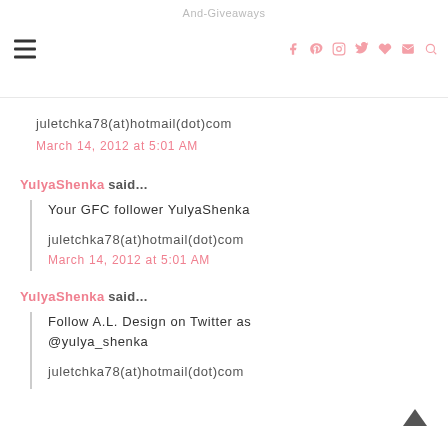And-Giveaways
juletchka78(at)hotmail(dot)com
March 14, 2012 at 5:01 AM
YulyaShenka said...
Your GFC follower YulyaShenka
juletchka78(at)hotmail(dot)com
March 14, 2012 at 5:01 AM
YulyaShenka said...
Follow A.L. Design on Twitter as @yulya_shenka
juletchka78(at)hotmail(dot)com